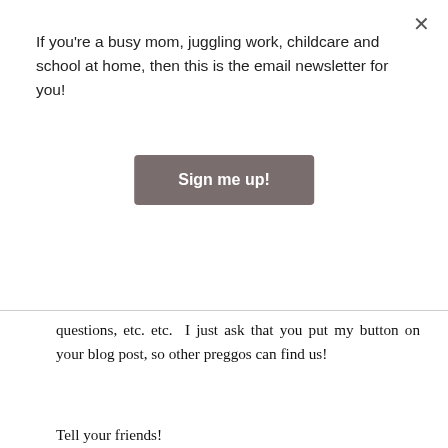If you're a busy mom, juggling work, childcare and school at home, then this is the email newsletter for you!
Sign me up!
questions, etc. etc.  I just ask that you put my button on your blog post, so other preggos can find us!
Tell your friends!
Can't wait to see you there!
[Figure (illustration): A pregnancy party invitation card with dark brown left panel showing a belly silhouette, and text on right reading 'It's a... PREGNANT PARTY On the Banks of Squaw Creek'. Below the card is an HTML img tag snippet.]